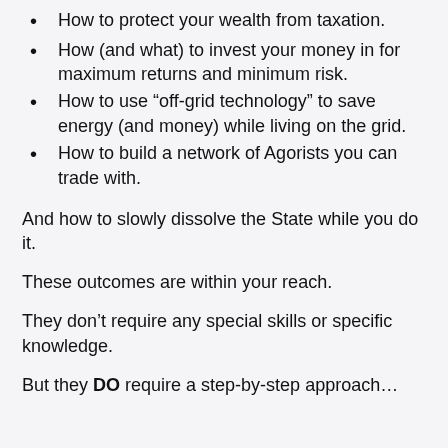How to protect your wealth from taxation.
How (and what) to invest your money in for maximum returns and minimum risk.
How to use “off-grid technology” to save energy (and money) while living on the grid.
How to build a network of Agorists you can trade with.
And how to slowly dissolve the State while you do it.
These outcomes are within your reach.
They don’t require any special skills or specific knowledge.
But they DO require a step-by-step approach…